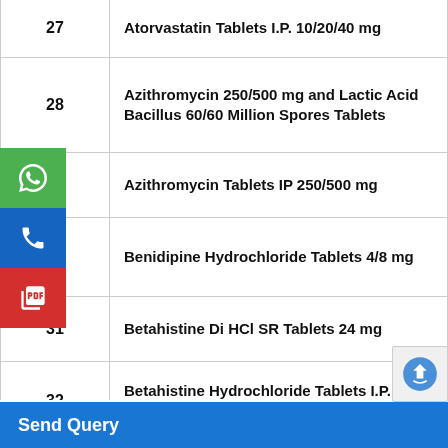| # | Product Name |
| --- | --- |
| 27 | Atorvastatin Tablets I.P. 10/20/40 mg |
| 28 | Azithromycin 250/500 mg and Lactic Acid Bacillus 60/60 Million Spores Tablets |
| 29 | Azithromycin Tablets IP 250/500 mg |
| 30 | Benidipine Hydrochloride Tablets 4/8 mg |
| 31 | Betahistine Di HCl SR Tablets 24 mg |
| 32 | Betahistine Hydrochloride Tablets I.P. 8/16 mg |
| 33 | Calcium 500 mg & Vitamin D3 250 IU Tablets IP |
Send Query